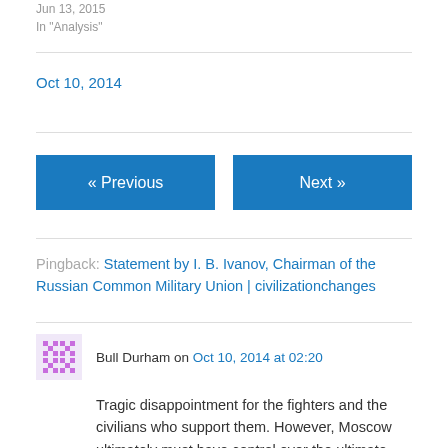Jun 13, 2015
In "Analysis"
Oct 10, 2014
« Previous
Next »
Pingback: Statement by I. B. Ivanov, Chairman of the Russian Common Military Union | civilizationchanges
Bull Durham on Oct 10, 2014 at 02:20
Tragic disappointment for the fighters and the civilians who support them. However, Moscow ultimately must have control over the ultimate